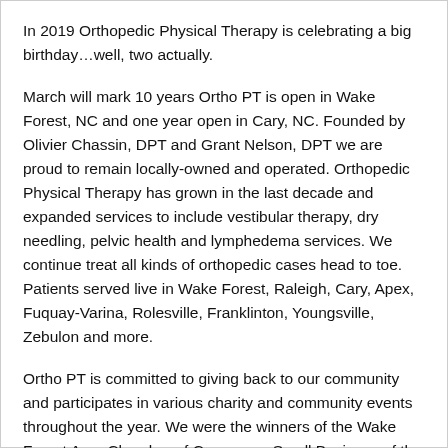In 2019 Orthopedic Physical Therapy is celebrating a big birthday…well, two actually.
March will mark 10 years Ortho PT is open in Wake Forest, NC and one year open in Cary, NC. Founded by Olivier Chassin, DPT and Grant Nelson, DPT we are proud to remain locally-owned and operated. Orthopedic Physical Therapy has grown in the last decade and expanded services to include vestibular therapy, dry needling, pelvic health and lymphedema services. We continue treat all kinds of orthopedic cases head to toe. Patients served live in Wake Forest, Raleigh, Cary, Apex, Fuquay-Varina, Rolesville, Franklinton, Youngsville, Zebulon and more.
Ortho PT is committed to giving back to our community and participates in various charity and community events throughout the year. We were the winners of the Wake Forest Area Chamber of Commerce Small Business of the Year Award in 2014, and have been voted #1...